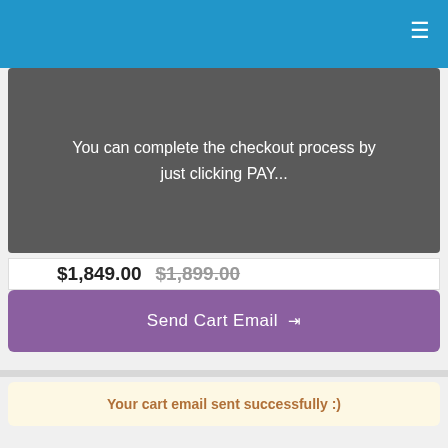You can complete the checkout process by just clicking PAY...
$1,849.00  $1,899.00
Send Cart Email
Your cart email sent successfully :)
[Figure (screenshot): Two smart home device product images: a dark-framed tablet on the left and a white panel device on the right showing a clock display (12:00) with a landscape background and three icon buttons]
Language »